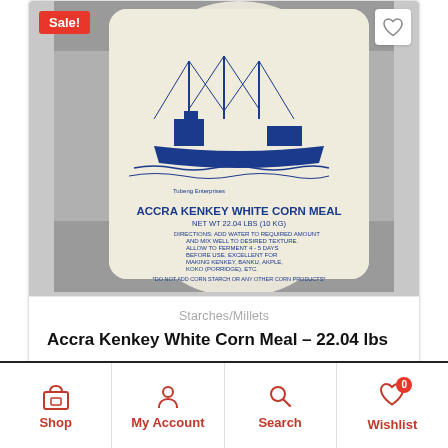[Figure (photo): A bag of Accra Kenkey White Corn Meal, 22.04 lbs (10 KG), with blue text and a ship illustration on the packaging. The bag is white and sits on a gray tile floor background.]
Starches/Millets
Accra Kenkey White Corn Meal – 22.04 lbs
$28.99  $29.99
Shop   My Account   Search   Wishlist